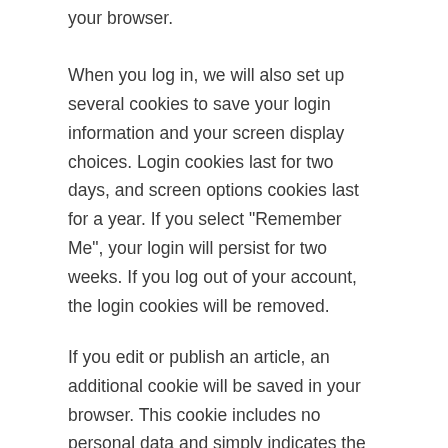your browser.
When you log in, we will also set up several cookies to save your login information and your screen display choices. Login cookies last for two days, and screen options cookies last for a year. If you select "Remember Me", your login will persist for two weeks. If you log out of your account, the login cookies will be removed.
If you edit or publish an article, an additional cookie will be saved in your browser. This cookie includes no personal data and simply indicates the post ID of the article you just edited. It expires after 1 day.
Embedded content from other websites
Articles on this site may include embedded content (e.g.